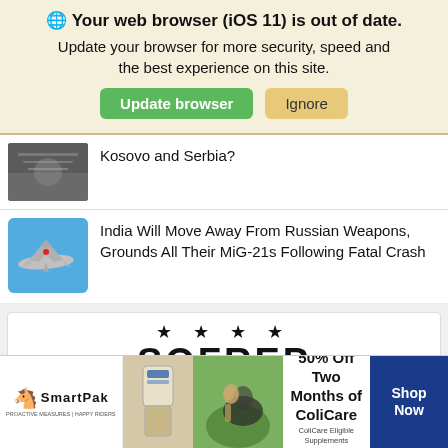🌐 Your web browser (iOS 11) is out of date. Update your browser for more security, speed and the best experience on this site.
Update browser | Ignore
Kosovo and Serbia?
India Will Move Away From Russian Weapons, Grounds All Their MiG-21s Following Fatal Crash
[Figure (screenshot): SOFREP website ad area with stars and bold SOFREP text]
[Figure (infographic): SmartPak advertisement banner: 50% Off Two Months of ColiCare, ColiCare Eligible Supplements, CODE: COLICARE10, Shop Now button]